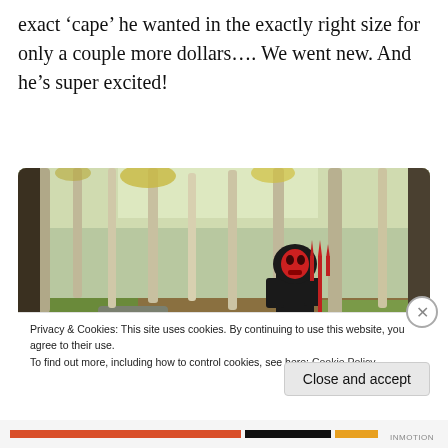exact ‘cape’ he wanted in the exactly right size for only a couple more dollars…. We went new. And he’s super excited!
[Figure (photo): A child dressed in a black Halloween devil/grim reaper costume with a red skull mask and holding a red trident/pitchfork, standing in an autumn woodland setting with trees and fallen leaves.]
Privacy & Cookies: This site uses cookies. By continuing to use this website, you agree to their use.
To find out more, including how to control cookies, see here: Cookie Policy
Close and accept